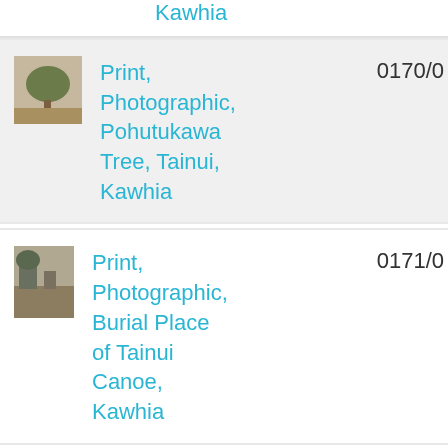Kawhia
[Figure (photo): Thumbnail of Pohutukawa Tree photograph]
Print, Photographic, Pohutukawa Tree, Tainui, Kawhia
0170/0
[Figure (photo): Thumbnail of Burial Place of Tainui Canoe photograph]
Print, Photographic, Burial Place of Tainui Canoe, Kawhia
0171/0
[Figure (photo): Thumbnail of Anchor Stone Burial photograph]
Print, Photographic, Anchor Stone, Burial
0172/0